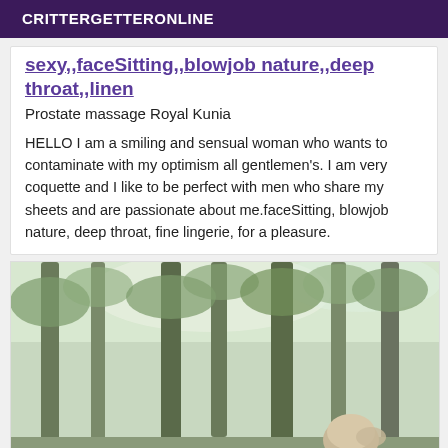CRITTERGETTERONLINE
sexy,,faceSitting,,blowjob nature,,deep throat,,linen
Prostate massage Royal Kunia
HELLO I am a smiling and sensual woman who wants to contaminate with my optimism all gentlemen's. I am very coquette and I like to be perfect with men who share my sheets and are passionate about me.faceSitting, blowjob nature, deep throat, fine lingerie, for a pleasure.
[Figure (photo): Outdoor photo showing a person with light hair viewed from behind, standing among tall trees with green leaves in a forest or wooded area.]